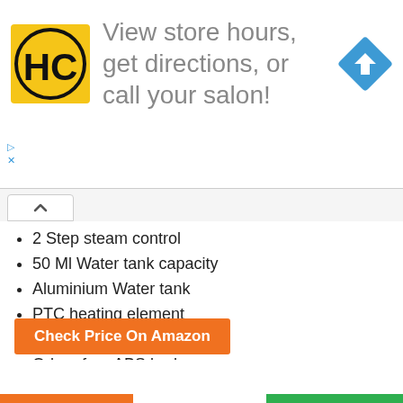[Figure (infographic): Advertisement banner with HC logo (black and yellow), text 'View store hours, get directions, or call your salon!' and a blue navigation/directions diamond icon]
2 Step steam control
50 Ml Water tank capacity
Aluminium Water tank
PTC heating element
Over heating protection
Odour free ABS body
1.6 meters long power cord
Contents: 1 Facial steamer, 1 facial mask, 1 nasal mask, 1 water measuring cup
Check Price On Amazon